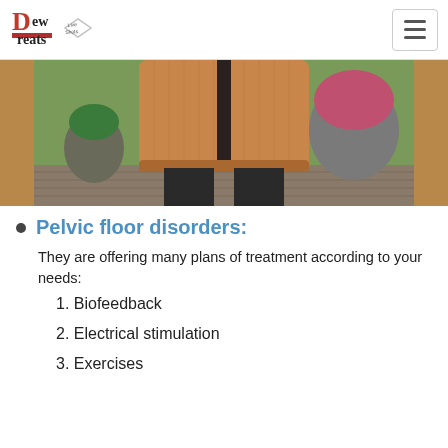Dew Treats Live Shots (logo) + hamburger menu
[Figure (photo): Close-up photo of a person wearing a brown/caramel knitted open-front cardigan sweater, standing on a wooden deck with potted plants in the background]
Pelvic floor disorders:
They are offering many plans of treatment according to your needs:
1. Biofeedback
2. Electrical stimulation
3. Exercises